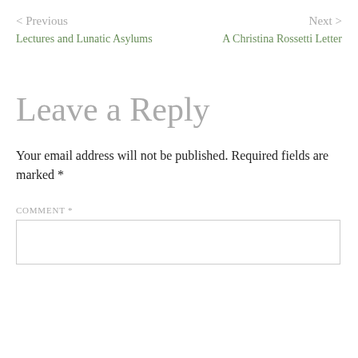< Previous
Next >
Lectures and Lunatic Asylums
A Christina Rossetti Letter
Leave a Reply
Your email address will not be published. Required fields are marked *
COMMENT *